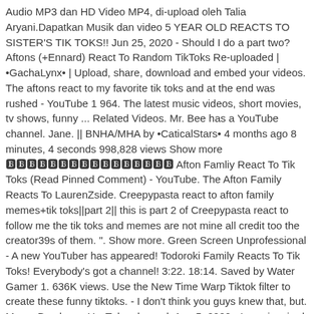Audio MP3 dan HD Video MP4, di-upload oleh Talia Aryani.Dapatkan Musik dan video 5 YEAR OLD REACTS TO SISTER'S TIK TOKS!! Jun 25, 2020 - Should I do a part two? Aftons (+Ennard) React To Random TikToks Re-uploaded | •GachaLynx• | Upload, share, download and embed your videos. The aftons react to my favorite tik toks and at the end was rushed - YouTube 1 964. The latest music videos, short movies, tv shows, funny ... Related Videos. Mr. Bee has a YouTube channel. Jane. || BNHA/MHA by •CaticalStars• 4 months ago 8 minutes, 4 seconds 998,828 views Show more 🅱🅱🅱🅱🅱🅱🅱🅱🅱🅱🅱🅱🅱🅱🅱🅱 Afton Famliy React To Tik Toks (Read Pinned Comment) - YouTube. The Afton Family Reacts To LaurenZside. Creepypasta react to afton family memes+tik toks||part 2|| this is part 2 of Creepypasta react to follow me the tik toks and memes are not mine all credit too the creator39s of them. ". Show more. Green Screen Unprofessional - A new YouTuber has appeared! Todoroki Family Reacts To Tik Toks! Everybody's got a channel! 3:22. 18:14. Saved by Water Gamer 1. 636K views. Use the New Time Warp Tiktok filter to create these funny tiktoks. - I don't think you guys knew that, but. Mama Bee has a YouTube channel. Aug 5, 2020 - I was inspired by Mari Posa so go check her out December 2020 If Chris survived the bite ||FULL!|| (read description) Lil Sparkle. Загружено: 5 мес. 17:58. Vocal Coach